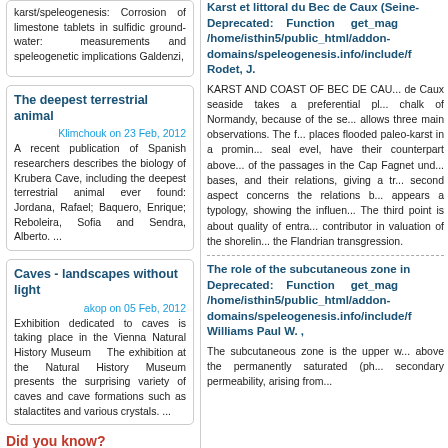karst/speleogenesis: Corrosion of limestone tablets in sulfidic groundwater: measurements and speleogenetic implications Galdenzi,
The deepest terrestrial animal
Klimchouk on 23 Feb, 2012
A recent publication of Spanish researchers describes the biology of Krubera Cave, including the deepest terrestrial animal ever found: Jordana, Rafael; Baquero, Enrique; Reboleira, Sofia and Sendra, Alberto. ...
Caves - landscapes without light
akop on 05 Feb, 2012
Exhibition dedicated to caves is taking place in the Vienna Natural History Museum  The exhibition at the Natural History Museum presents the surprising variety of caves and cave formations such as stalactites and various crystals. ...
Did you know?
That permeability coefficient is the rate of flow of water through a unit cross-sectional area under a unit hydraulic gradient at the prevailing temperature (field permeability coefficient) or adjusted to a temperature of 15oc.[22].2
Karst et littoral du Bec de Caux (Seine- Deprecated: Function get_mag /home/isthin5/public_html/addon-domains/speleogenesis.info/include/f Rodet, J.
KARST AND COAST OF BEC DE CAU... de Caux seaside takes a preferential pl... chalk of Normandy, because of the se... allows three main observations. The f... places flooded paleo-karst in a promin... seal evel, have their counterpart above... of the passages in the Cap Fagnet und... bases, and their relations, giving a tr... second aspect concerns the relations b... appears a typology, showing the influen... The third point is about quality of entra... contributor in valuation of the shorelin... the Flandrian transgression.
The role of the subcutaneous zone in Deprecated: Function get_mag /home/isthin5/public_html/addon-domains/speleogenesis.info/include/f Williams Paul W. ,
The subcutaneous zone is the upper w... above the permanently saturated (ph... secondary permeability, arising from...